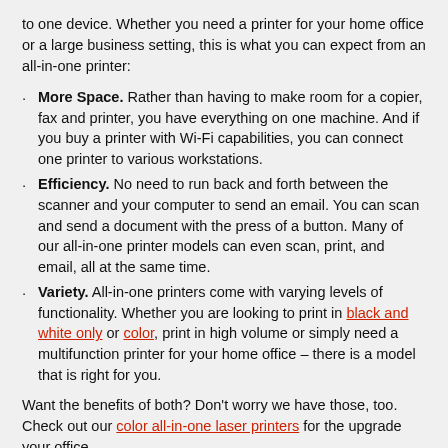to one device. Whether you need a printer for your home office or a large business setting, this is what you can expect from an all-in-one printer:
More Space. Rather than having to make room for a copier, fax and printer, you have everything on one machine. And if you buy a printer with Wi-Fi capabilities, you can connect one printer to various workstations.
Efficiency. No need to run back and forth between the scanner and your computer to send an email. You can scan and send a document with the press of a button. Many of our all-in-one printer models can even scan, print, and email, all at the same time.
Variety. All-in-one printers come with varying levels of functionality. Whether you are looking to print in black and white only or color, print in high volume or simply need a multifunction printer for your home office – there is a model that is right for you.
Want the benefits of both? Don't worry we have those, too. Check out our color all-in-one laser printers for the upgrade your office